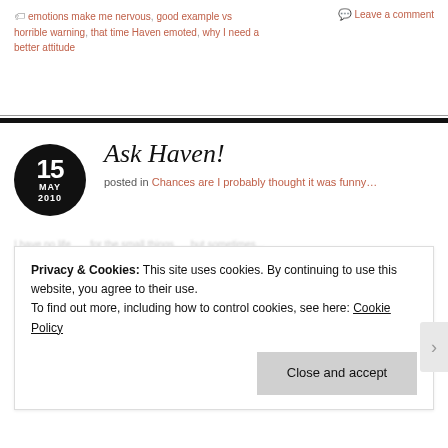🏷 emotions make me nervous, good example vs horrible warning, that time Haven emoted, why I need a better attitude
💬 Leave a comment
Ask Haven!
posted in Chances are I probably thought it was funny…
Privacy & Cookies: This site uses cookies. By continuing to use this website, you agree to their use. To find out more, including how to control cookies, see here: Cookie Policy
Close and accept